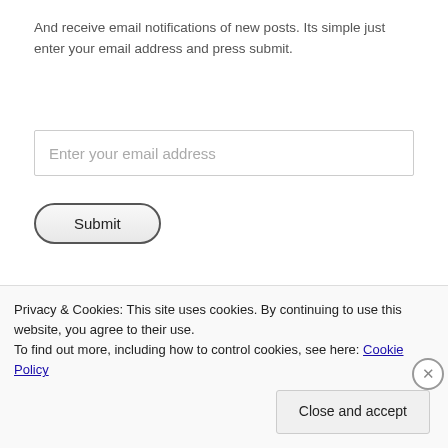And receive email notifications of new posts. Its simple just enter your email address and press submit.
[Figure (screenshot): Email input field with placeholder text 'Enter your email address']
[Figure (screenshot): Submit button with rounded border]
Next Trip Counter
[Figure (infographic): Dark banner with 'Viva Las Vegas!!' title and 'May 12, 2016' date]
Privacy & Cookies: This site uses cookies. By continuing to use this website, you agree to their use.
To find out more, including how to control cookies, see here: Cookie Policy
Close and accept